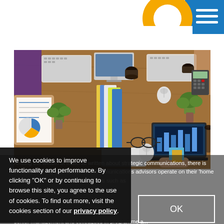[Figure (photo): Overhead view of a busy office desk with multiple people working, keyboards, laptops, papers, plants, and coffee cups on a wooden table]
Among the wealth of material written about strategic communications, there is virtually nothing said about how communications advisors operate on their 'home turf' in relation to their internal clients such as senior management and colleagues in programme a...
We use cookies to improve functionality and performance. By clicking "OK" or by continuing to browse this site, you agree to the use of cookies. To find out more, visit the cookies section of our privacy policy.